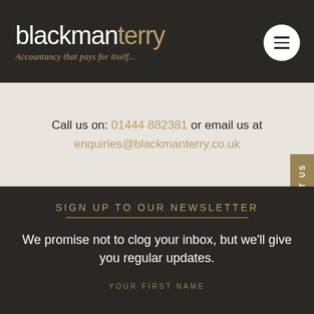blackmanterry — Accountancy that pays for itself...
Call us on: 01444 882381 or email us at enquiries@blackmanterry.co.uk
SIGN UP TO OUR NEWSLETTER
We promise not to clog your inbox, but we'll give you regular updates.
YOUR FIRST NAME